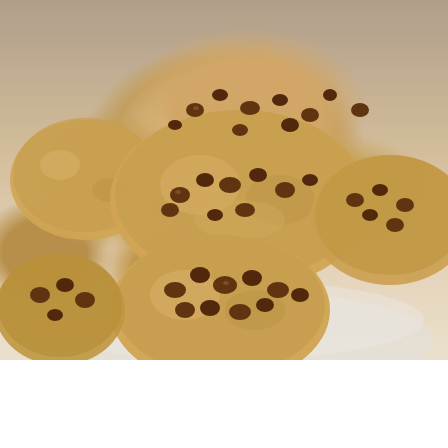[Figure (photo): Close-up photo of chocolate chip cookies piled on a white plate. The cookies are golden-brown/tan colored with numerous chocolate chips scattered on top and throughout. Multiple cookies are stacked on each other on a round white plate.]
[Figure (photo): Advertisement banner showing a group of diverse people standing together with arms around each other, viewed from behind. Text reads 'We Stand Together' with close buttons (X) visible.]